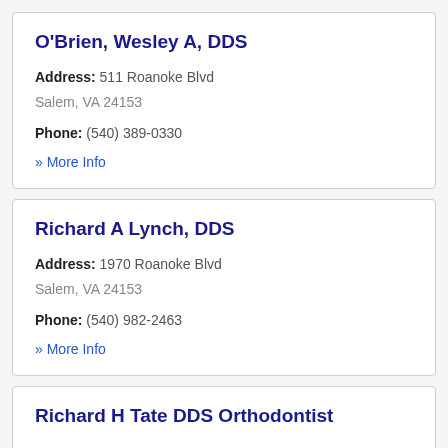O'Brien, Wesley A, DDS
Address: 511 Roanoke Blvd
Salem, VA 24153
Phone: (540) 389-0330
» More Info
Richard A Lynch, DDS
Address: 1970 Roanoke Blvd
Salem, VA 24153
Phone: (540) 982-2463
» More Info
Richard H Tate DDS Orthodontist